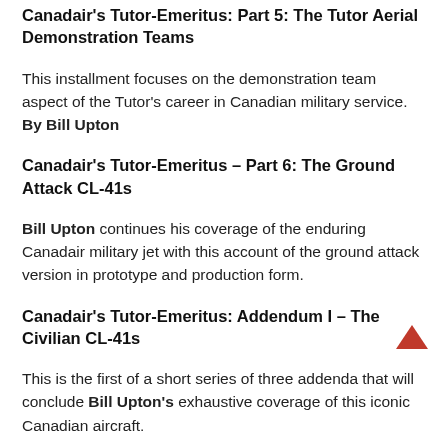Canadair's Tutor-Emeritus: Part 5: The Tutor Aerial Demonstration Teams
This installment focuses on the demonstration team aspect of the Tutor's career in Canadian military service. By Bill Upton
Canadair's Tutor-Emeritus – Part 6: The Ground Attack CL-41s
Bill Upton continues his coverage of the enduring Canadair military jet with this account of the ground attack version in prototype and production form.
Canadair's Tutor-Emeritus: Addendum I – The Civilian CL-41s
This is the first of a short series of three addenda that will conclude Bill Upton's exhaustive coverage of this iconic Canadian aircraft.